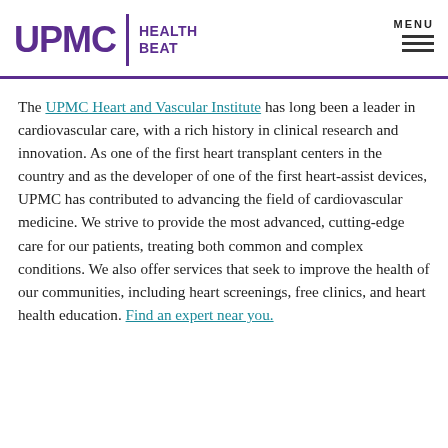UPMC | HEALTH BEAT
The UPMC Heart and Vascular Institute has long been a leader in cardiovascular care, with a rich history in clinical research and innovation. As one of the first heart transplant centers in the country and as the developer of one of the first heart-assist devices, UPMC has contributed to advancing the field of cardiovascular medicine. We strive to provide the most advanced, cutting-edge care for our patients, treating both common and complex conditions. We also offer services that seek to improve the health of our communities, including heart screenings, free clinics, and heart health education. Find an expert near you.